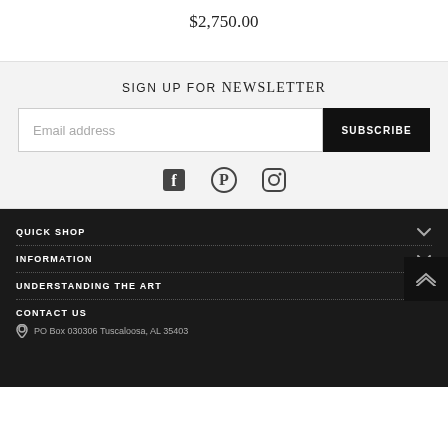$2,750.00
SIGN UP FOR NEWSLETTER
Email address
SUBSCRIBE
[Figure (other): Social media icons: Facebook, Pinterest, Instagram]
QUICK SHOP
INFORMATION
UNDERSTANDING THE ART
CONTACT US
PO Box 030306 Tuscaloosa, AL 35403